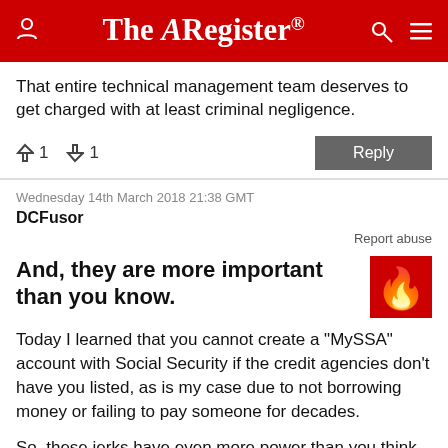The Register
That entire technical management team deserves to get charged with at least criminal negligence.
↑1  ↓1   Reply
Wednesday 14th March 2018 21:38 GMT
DCFusor
Report abuse
And, they are more important than you know.
Today I learned that you cannot create a "MySSA" account with Social Security if the credit agencies don't have you listed, as is my case due to not borrowing money or failing to pay someone for decades.
So, these jerks have even more power than you think. This cuts one off from all online paperwork with the SSA, and reverts you to snail mail for everything (without easy